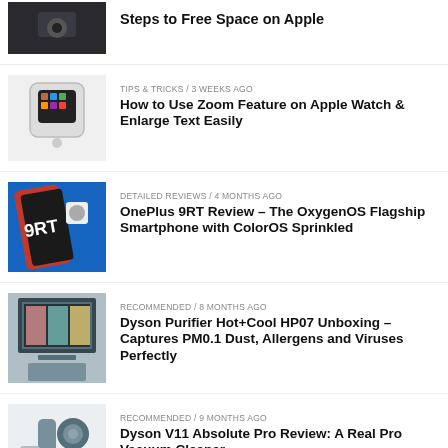[Figure (photo): Dark tech device photo, partial view at top]
Steps to Free Space on Apple
[Figure (photo): Apple Watch on a stand, white background]
TIPS & TRICKS / 3 weeks ago
How to Use Zoom Feature on Apple Watch & Enlarge Text Easily
[Figure (photo): OnePlus 9RT smartphone on blue background]
DETAILED REVIEWS / 4 months ago
OnePlus 9RT Review – The OxygenOS Flagship Smartphone with ColorOS Sprinkled
[Figure (photo): Dyson Purifier Hot+Cool HP07 in a room setting]
RECOMMENDED / 8 months ago
Dyson Purifier Hot+Cool HP07 Unboxing – Captures PM0.1 Dust, Allergens and Viruses Perfectly
[Figure (photo): Dyson V11 vacuum cleaner]
RECOMMENDED / 9 months ago
Dyson V11 Absolute Pro Review: A Real Pro Vacuum Cleaner
[Figure (photo): Partial photo of a smartphone, bottom row]
UNBOXING / 9 months ago